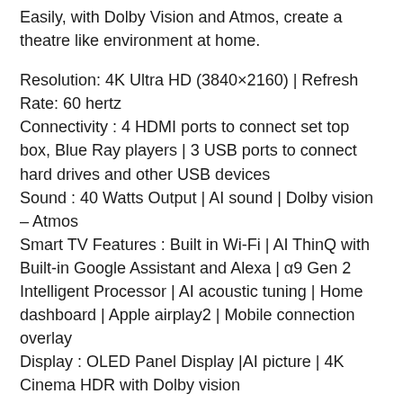Easily, with Dolby Vision and Atmos, create a theatre like environment at home.
Resolution: 4K Ultra HD (3840×2160) | Refresh Rate: 60 hertz
Connectivity : 4 HDMI ports to connect set top box, Blue Ray players | 3 USB ports to connect hard drives and other USB devices
Sound : 40 Watts Output | AI sound | Dolby vision – Atmos
Smart TV Features : Built in Wi-Fi | AI ThinQ with Built-in Google Assistant and Alexa | α9 Gen 2 Intelligent Processor | AI acoustic tuning | Home dashboard | Apple airplay2 | Mobile connection overlay
Display : OLED Panel Display |AI picture | 4K Cinema HDR with Dolby vision
Warranty Information: 1 Year LG India Comprehensive Warranty and additional 1 year Warranty is applicable on panel/module from the date of purchase
Installation: For requesting installation/wall mounting/demo of this product, send dispatch/delivery through all LG service centers